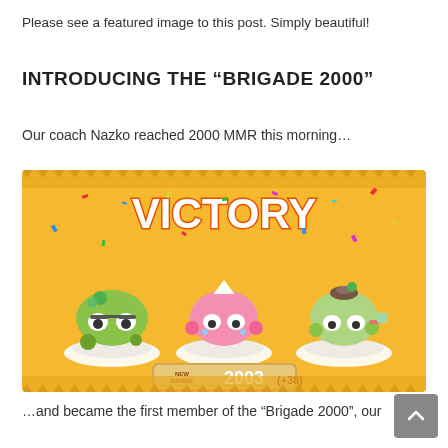Please see a featured image to this post. Simply beautiful!
INTRODUCING THE “BRIGADE 2000”
Our coach Nazko reached 2000 MMR this morning…
[Figure (screenshot): Victory screen from Axie Infinity game showing three cartoon creature characters (axies) standing on pedestals with confetti. The word VICTORY appears at the top in large orange letters. A banner at the bottom shows NEW RATING 2003 (+38).]
…and became the first member of the “Brigade 2000”, our